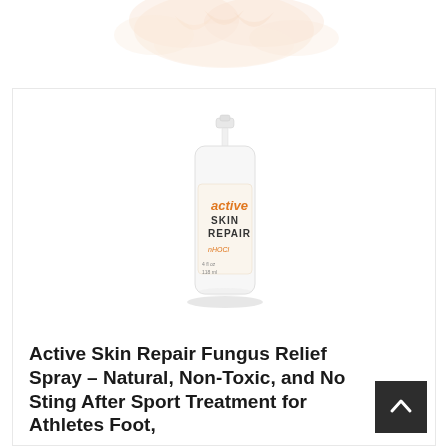[Figure (illustration): Faded decorative floral/botanical graphic at the top of the page, light peach and orange tones.]
[Figure (photo): Photo of Active Skin Repair spray bottle product. White pump spray bottle with orange and white label reading 'active SKIN REPAIR nHOCl']
Active Skin Repair Fungus Relief Spray – Natural, Non-Toxic, and No Sting After Sport Treatment for Athletes Foot,